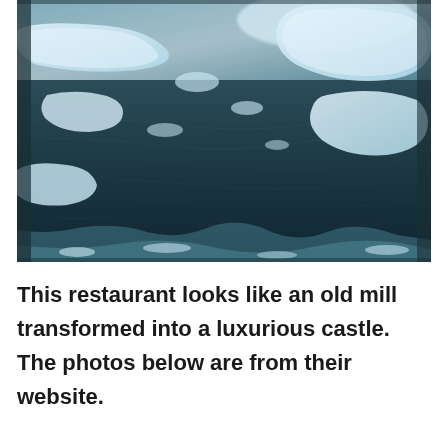[Figure (photo): Aerial or overhead view of a partially frozen river or water body with large ice floes floating on dark, turbulent water. The scene is blue-tinted and wintry, with ice chunks of various sizes visible across the surface.]
This restaurant looks like an old mill transformed into a luxurious castle. The photos below are from their website.